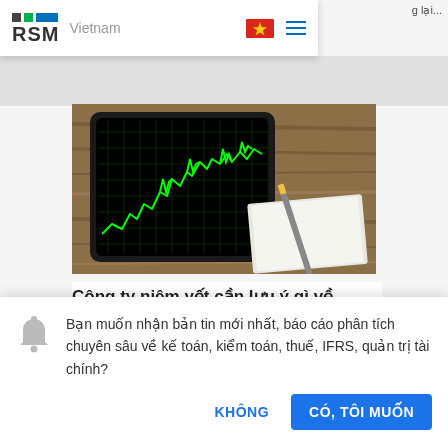RSM Vietnam
g lại...
[Figure (screenshot): RSM Vietnam website screenshot showing a navigation bar with RSM logo, Vietnam flag, and hamburger menu]
[Figure (photo): Photo of a tablet displaying a green stock market line chart with grid on a wooden table, next to a notebook and pen]
Công ty niêm yết cần lưu ý gì về
Bạn muốn nhận bản tin mới nhất, báo cáo phân tích chuyên sâu về kế toán, kiểm toán, thuế, IFRS, quản trị tài chính?
KHÔNG
CÓ, TÔI MUỐN